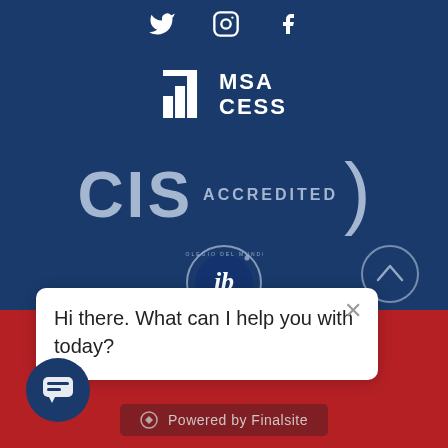[Figure (logo): Social media icons: Twitter, Instagram, Facebook in white on dark blue background]
[Figure (logo): MSA CESS logo in white on dark blue background]
[Figure (logo): CIS ACCREDITED logo in light blue-grey on dark blue background]
[Figure (logo): IB (International Baccalaureate) World School circular logo]
Hi there. What can I help you with today?
Privacy Policy
Accreditation
Site Admin
[Figure (logo): Powered by Finalsite logo in dark red bar]